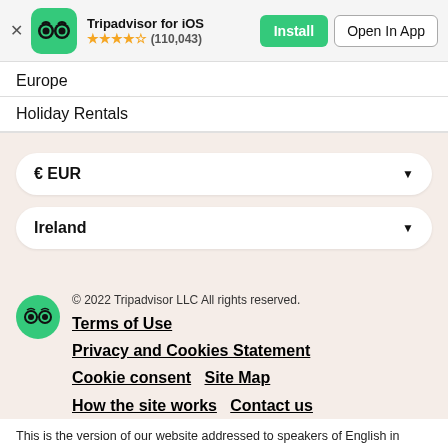[Figure (screenshot): Tripadvisor app install banner with owl logo icon, star rating, Install and Open In App buttons]
Europe
Holiday Rentals
€ EUR
Ireland
© 2022 Tripadvisor LLC All rights reserved.
Terms of Use
Privacy and Cookies Statement
Cookie consent   Site Map
How the site works   Contact us
This is the version of our website addressed to speakers of English in Ireland. If you are a resident of another country or region, please select the appropriate version of Tripadvisor for your country or region in the drop-down menu. more